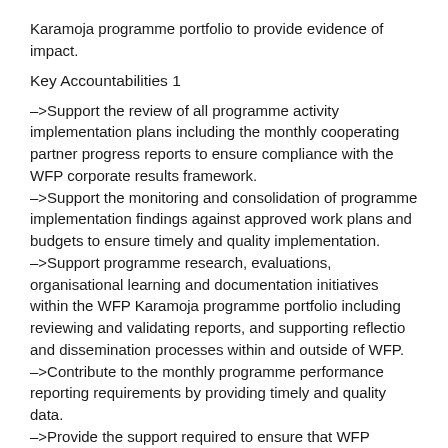Karamoja programme portfolio to provide evidence of impact.
Key Accountabilities 1
–>Support the review of all programme activity implementation plans including the monthly cooperating partner progress reports to ensure compliance with the WFP corporate results framework.
–>Support the monitoring and consolidation of programme implementation findings against approved work plans and budgets to ensure timely and quality implementation.
–>Support programme research, evaluations, organisational learning and documentation initiatives within the WFP Karamoja programme portfolio including reviewing and validating reports, and supporting reflectio and dissemination processes within and outside of WFP.
–>Contribute to the monthly programme performance reporting requirements by providing timely and quality data.
–>Provide the support required to ensure that WFP programming in Karamoja intentionally mainstreams food systems, gender, disaster risk reduction and climate adaptation, accountability to people that WFP serves, protection etc.
–>Collaborate with the programme teams to ensure that the risks